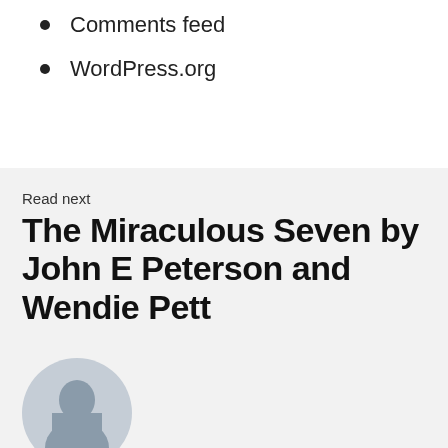Comments feed
WordPress.org
Read next
The Miraculous Seven by John E Peterson and Wendie Pett
[Figure (photo): Circular cropped portrait photo of a person, partially visible at the bottom of the page]